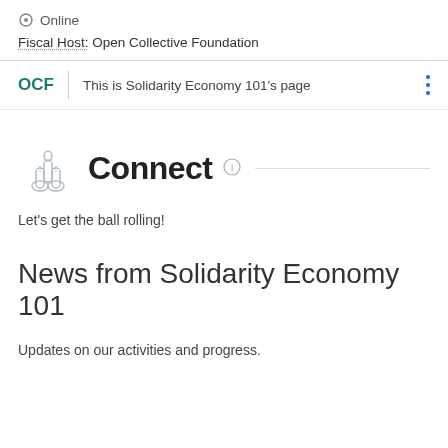Online
Fiscal Host: Open Collective Foundation
OCF | This is Solidarity Economy 101's page
Connect
Let's get the ball rolling!
News from Solidarity Economy 101
Updates on our activities and progress.